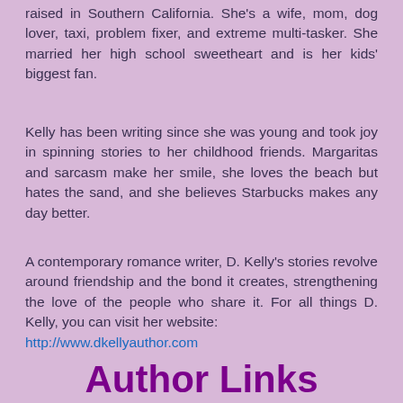raised in Southern California. She's a wife, mom, dog lover, taxi, problem fixer, and extreme multi-tasker. She married her high school sweetheart and is her kids' biggest fan.
Kelly has been writing since she was young and took joy in spinning stories to her childhood friends. Margaritas and sarcasm make her smile, she loves the beach but hates the sand, and she believes Starbucks makes any day better.
A contemporary romance writer, D. Kelly's stories revolve around friendship and the bond it creates, strengthening the love of the people who share it. For all things D. Kelly, you can visit her website: http://www.dkellyauthor.com
Author Links